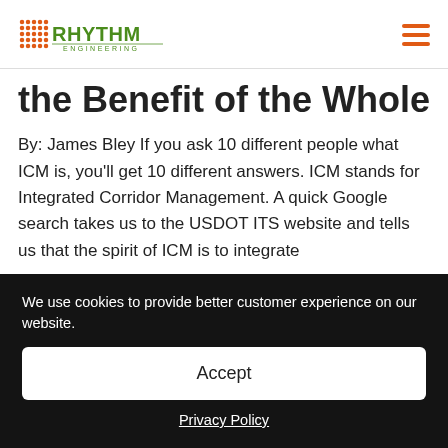Rhythm Engineering [logo + navigation]
the Benefit of the Whole
By: James Bley If you ask 10 different people what ICM is, you'll get 10 different answers. ICM stands for Integrated Corridor Management. A quick Google search takes us to the USDOT ITS website and tells us that the spirit of ICM is to integrate
We use cookies to provide better customer experience on our website.
Accept
Privacy Policy